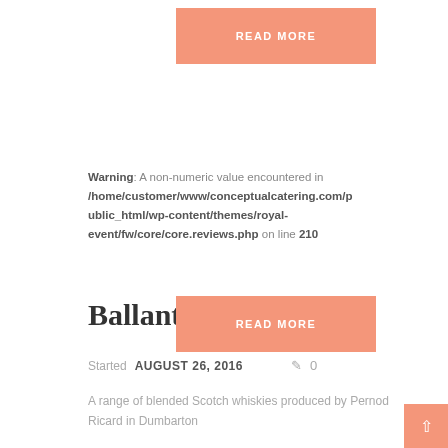[Figure (other): READ MORE button in salmon/coral color at top]
Warning: A non-numeric value encountered in /home/customer/www/conceptualcatering.com/public_html/wp-content/themes/royal-event/fw/core/core.reviews.php on line 210
Ballantines
Started AUGUST 26, 2016   0
A range of blended Scotch whiskies produced by Pernod Ricard in Dumbarton
[Figure (other): READ MORE button in salmon/coral color at bottom]
[Figure (other): Back to top arrow button in coral at bottom right]